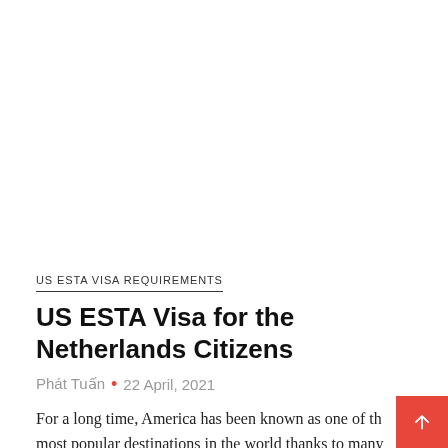US ESTA VISA REQUIREMENTS
US ESTA Visa for the Netherlands Citizens
Phát Tuấn • 22 April, 2021
For a long time, America has been known as one of the most popular destinations in the world thanks to many factors. The first thing anyone comes to mind when